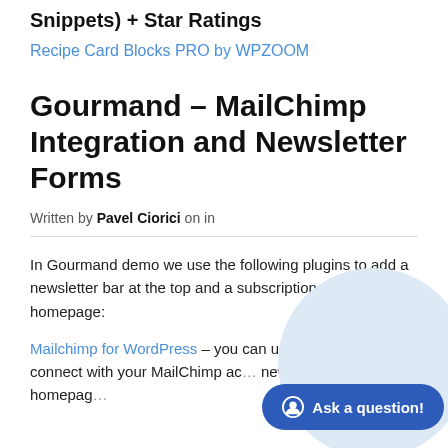Snippets) + Star Ratings
Recipe Card Blocks PRO by WPZOOM
Gourmand – MailChimp Integration and Newsletter Forms
Written by Pavel Ciorici on in
In Gourmand demo we use the following plugins to add a newsletter bar at the top and a subscription widget on the homepage:
Mailchimp for WordPress – you can use this plugin to connect with your MailChimp ac… newsletter form on the homepag…